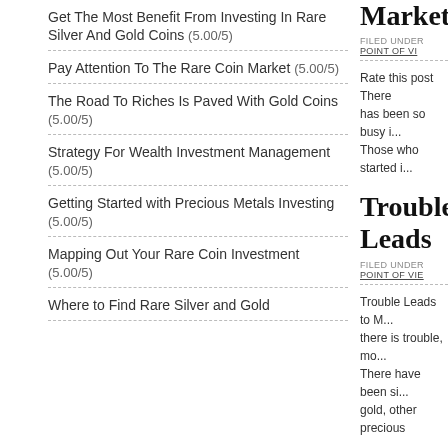Get The Most Benefit From Investing In Rare Silver And Gold Coins (5.00/5)
Pay Attention To The Rare Coin Market (5.00/5)
The Road To Riches Is Paved With Gold Coins (5.00/5)
Strategy For Wealth Investment Management (5.00/5)
Getting Started with Precious Metals Investing (5.00/5)
Mapping Out Your Rare Coin Investment (5.00/5)
Where to Find Rare Silver and Gold
Market
FILED UNDER POINT OF VI...
Rate this post There has been so busy i... Those who started i...
Trouble Leads...
FILED UNDER POINT OF VI...
Trouble Leads to M... there is trouble, mo... There have been si... gold, other precious...
The Road To R...
FILED UNDER POINT OF VI... COIN INVESTMENT, SILVER...
The Road To Riches...